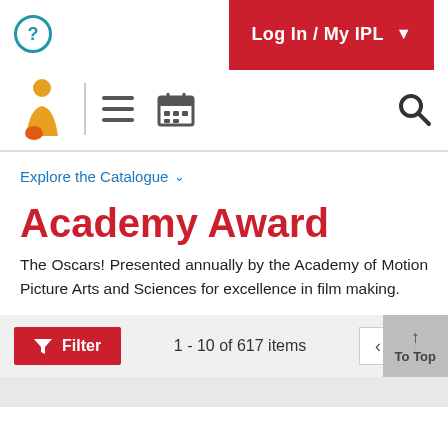Log In / My IPL
[Figure (screenshot): Library website navigation bar with logo, hamburger menu, calendar icon, and search icon]
Explore the Catalogue
Academy Award
The Oscars! Presented annually by the Academy of Motion Picture Arts and Sciences for excellence in film making.
Filter   1 - 10 of 617 items